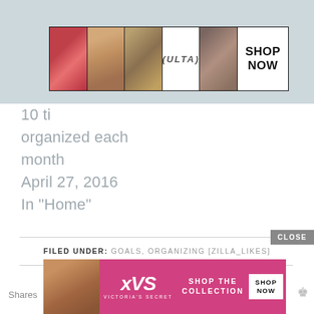[Figure (screenshot): Partial screenshot of blog post with ULTA Beauty advertisement banner showing makeup images (lips, brush, eye, logo, smoky eye) with SHOP NOW button]
10 ti... organized each month
April 27, 2016
In "Home"
FILED UNDER: GOALS, ORGANIZING [ZILLA_LIKES]
[Figure (screenshot): CLOSE button overlay]
[Figure (screenshot): Victoria's Secret advertisement banner: SHOP THE COLLECTION, SHOP NOW, with model photo and VS logo]
Shares